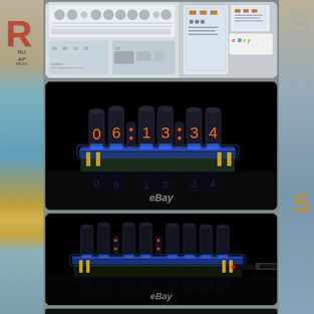[Figure (photo): Top image showing Nixie tube clock kit components: PCB layout diagram on white background, components in bags, and eBay watermark]
[Figure (photo): Middle image showing assembled Nixie tube clock glowing blue/orange on black background, displaying digits 06:13:4, with eBay watermark at bottom, and reflection visible below]
[Figure (photo): Bottom image showing assembled Nixie tube clock from rear/side angle glowing blue on black background, with USB cable connected, eBay watermark, and reflection below]
[Figure (photo): Partial fourth image at very bottom edge, beginning of another product photo]